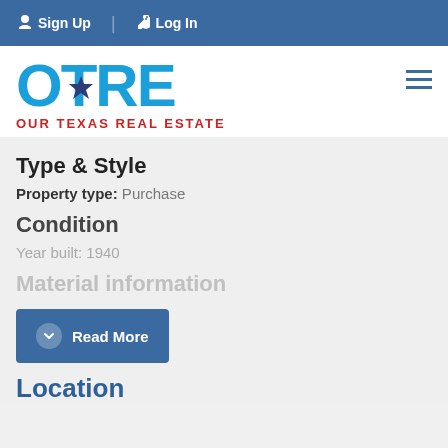Sign Up  Log In
[Figure (logo): OTRE Our Texas Real Estate logo with large blue letters OTRE and red tagline OUR TEXAS REAL ESTATE]
Type & Style
Property type:  Purchase
Condition
Year built:  1940
Material information
Read More
Location